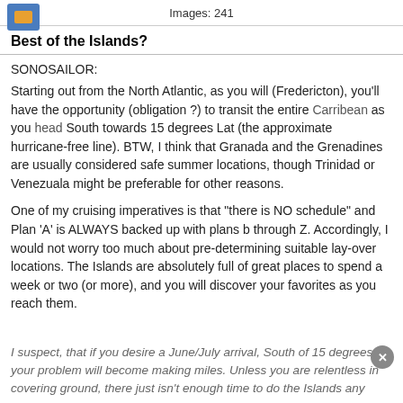Images: 241
Best of the Islands?
SONOSAILOR:
Starting out from the North Atlantic, as you will (Fredericton), you'll have the opportunity (obligation ?) to transit the entire Carribean as you head South towards 15 degrees Lat (the approximate hurricane-free line). BTW, I think that Granada and the Grenadines are usually considered safe summer locations, though Trinidad or Venezuala might be preferable for other reasons.
One of my cruising imperatives is that "there is NO schedule" and Plan 'A' is ALWAYS backed up with plans b through Z. Accordingly, I would not worry too much about pre-determining suitable lay-over locations. The Islands are absolutely full of great places to spend a week or two (or more), and you will discover your favorites as you reach them.
I suspect, that if you desire a June/July arrival, South of 15 degrees, your problem will become making miles. Unless you are relentless in covering ground, there just isn't enough time to do the Islands any